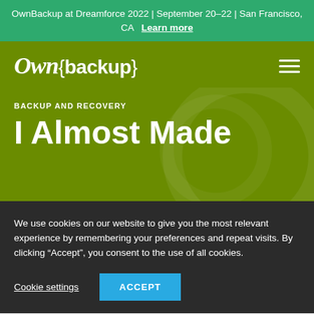OwnBackup at Dreamforce 2022 | September 20–22 | San Francisco, CA  Learn more
[Figure (logo): OwnBackup logo in white text on olive green background, with hamburger menu icon on the right]
BACKUP AND RECOVERY
I Almost Made
We use cookies on our website to give you the most relevant experience by remembering your preferences and repeat visits. By clicking “Accept”, you consent to the use of all cookies.
Cookie settings  ACCEPT